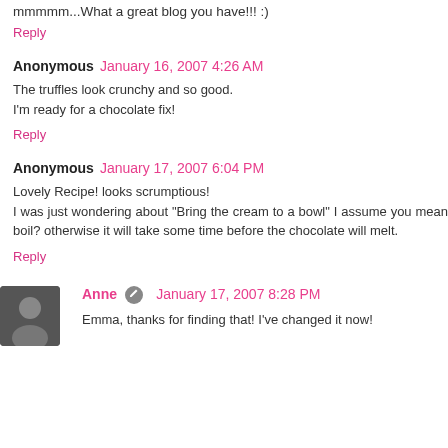mmmmm...What a great blog you have!!! :)
Reply
Anonymous  January 16, 2007 4:26 AM
The truffles look crunchy and so good.
I'm ready for a chocolate fix!
Reply
Anonymous  January 17, 2007 6:04 PM
Lovely Recipe! looks scrumptious!
I was just wondering about "Bring the cream to a bowl" I assume you mean boil? otherwise it will take some time before the chocolate will melt.
Reply
Anne  January 17, 2007 8:28 PM
Emma, thanks for finding that! I've changed it now!